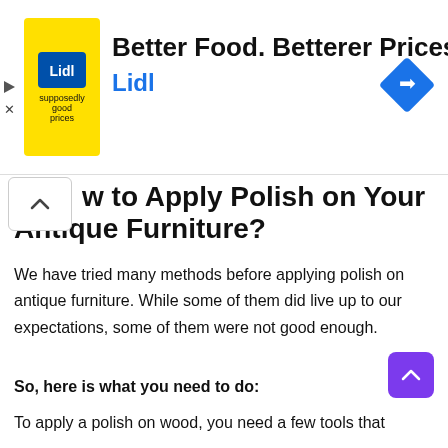[Figure (other): Lidl advertisement banner: yellow logo box with Lidl branding, headline 'Better Food. Betterer Prices.' and 'Lidl' in blue, blue diamond navigation icon on right, play/close icons on left]
How to Apply Polish on Your Antique Furniture?
We have tried many methods before applying polish on antique furniture. While some of them did live up to our expectations, some of them were not good enough.
So today, we will be showing you how to apply polish. This way, you will not make the same mistakes as we did.
So, here is what you need to do:
To apply a polish on wood, you need a few tools that